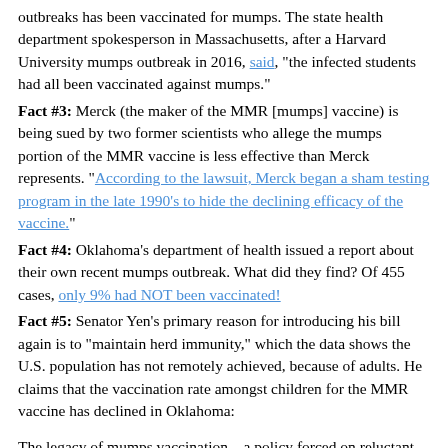outbreaks has been vaccinated for mumps. The state health department spokesperson in Massachusetts, after a Harvard University mumps outbreak in 2016, said, "the infected students had all been vaccinated against mumps."
Fact #3: Merck (the maker of the MMR [mumps] vaccine) is being sued by two former scientists who allege the mumps portion of the MMR vaccine is less effective than Merck represents. "According to the lawsuit, Merck began a sham testing program in the late 1990's to hide the declining efficacy of the vaccine."
Fact #4: Oklahoma's department of health issued a report about their own recent mumps outbreak. What did they find? Of 455 cases, only 9% had NOT been vaccinated!
Fact #5: Senator Yen's primary reason for introducing his bill again is to "maintain herd immunity," which the data shows the U.S. population has not remotely achieved, because of adults. He claims that the vaccination rate amongst children for the MMR vaccine has declined in Oklahoma:
The legacy of mumps vaccination – a policy forced on reluctant Public Health systems in the US and UK, essentially through commercial pressures – has simply made mumps a more dangerous disease. Mumps is a trivial disease in children but substantially more dangerous in adolescents and adults. The vaccine does not protect enough children, and what protection it does confer, does not last - even with boosters. The effect has been to leave pubertal